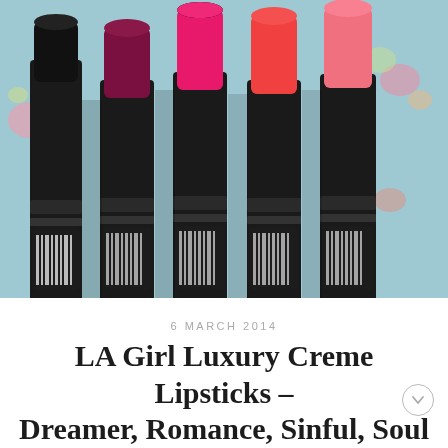[Figure (photo): Five LA Girl Luxury Creme lipsticks standing upright showing black tubes with colored bullet tips: black, dark magenta/berry, bright pink/fuchsia, coral-red, and coral-pink. Floral patterned background visible behind the lipsticks. Barcodes and product text visible on the tubes.]
6 MARCH 2014
LA Girl Luxury Creme Lipsticks – Dreamer, Romance, Sinful, Soul Mate and True Love Swatches &